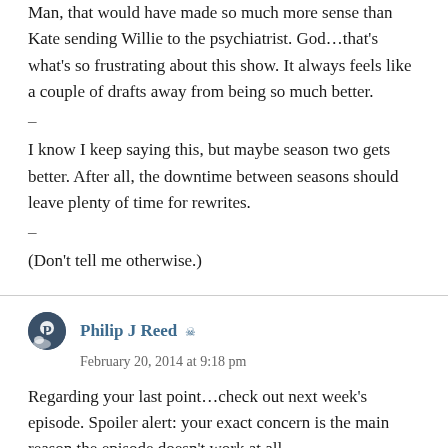Man, that would have made so much more sense than Kate sending Willie to the psychiatrist. God…that's what's so frustrating about this show. It always feels like a couple of drafts away from being so much better.
–
I know I keep saying this, but maybe season two gets better. After all, the downtime between seasons should leave plenty of time for rewrites.
–
(Don't tell me otherwise.)
Philip J Reed
February 20, 2014 at 9:18 pm
Regarding your last point…check out next week's episode. Spoiler alert: your exact concern is the main reason the episode doesn't work at all.